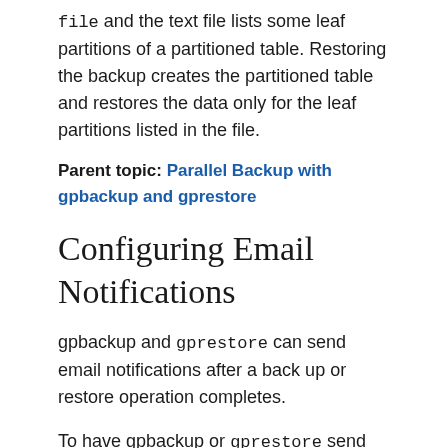file and the text file lists some leaf partitions of a partitioned table. Restoring the backup creates the partitioned table and restores the data only for the leaf partitions listed in the file.
Parent topic: Parallel Backup with gpbackup and gprestore
Configuring Email Notifications
gpbackup and gprestore can send email notifications after a back up or restore operation completes.
To have gpbackup or gprestore send out status email notifications, you must place a file named gp_email_contacts.yaml in the home directory of the user running gpbackup or gprestore in the same directory as the utilities ($GPHOME/bin). A utility issues a message if it cannot locate a